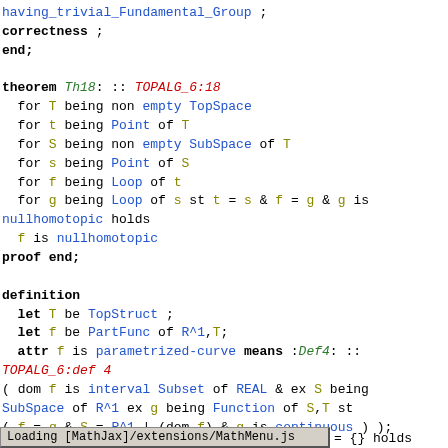having_trivial_Fundamental_Group ;
correctness ;
end;

theorem Th18: :: TOPALG_6:18
  for T being non empty TopSpace
  for t being Point of T
  for S being non empty SubSpace of T
  for s being Point of S
  for f being Loop of t
  for g being Loop of s st t = s & f = g & g is
nullhomotopic holds
  f is nullhomotopic
proof end;

definition
  let T be TopStruct ;
  let f be PartFunc of R^1,T;
  attr f is parametrized-curve means :Def4: ::
TOPALG_6:def 4
( dom f is interval Subset of REAL & ex S being
SubSpace of R^1 ex g being Function of S,T st
( f = g & S = R^1 | (dom f) & g is continuous ) );
end;

:: deftheorem Def4 defines parametrized-curve
TOPALG_6:def 4 :
Loading [MathJax]/extensions/MathMenu.js
= {} holds